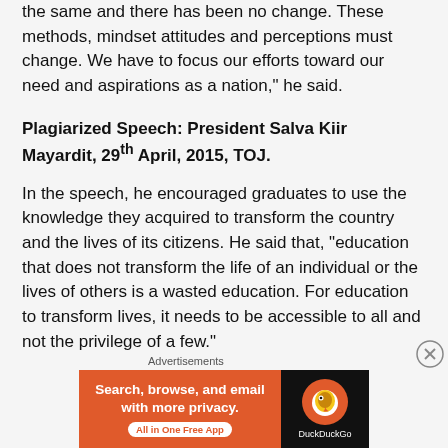the same and there has been no change. These methods, mindset attitudes and perceptions must change. We have to focus our efforts toward our need and aspirations as a nation," he said.
Plagiarized Speech: President Salva Kiir Mayardit, 29th April, 2015, TOJ.
In the speech, he encouraged graduates to use the knowledge they acquired to transform the country and the lives of its citizens. He said that, "education that does not transform the life of an individual or the lives of others is a wasted education. For education to transform lives, it needs to be accessible to all and not the privilege of a few."
Advertisements
[Figure (screenshot): DuckDuckGo advertisement banner: orange left panel with text 'Search, browse, and email with more privacy. All in One Free App' and dark right panel with DuckDuckGo duck logo and brand name.]